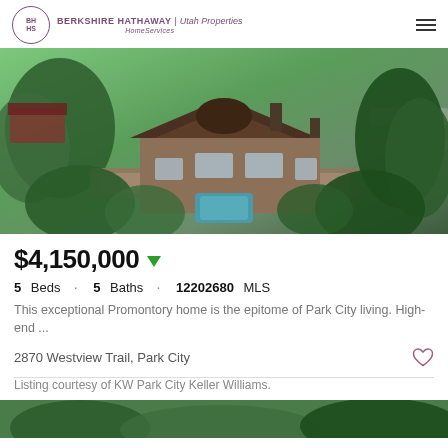BERKSHIRE HATHAWAY HomeServices | Utah Properties
[Figure (photo): Aerial view of a luxury Promontory home in Park City, surrounded by pine trees and green landscaping, with a hot tub visible on a lower terrace]
$4,150,000 ▼
5 Beds · 5 Baths · 12202680 MLS
This exceptional Promontory home is the epitome of Park City living. High-end ...
2870 Westview Trail, Park City
Listing courtesy of KW Park City Keller Williams.
[Figure (photo): Partial aerial view of wooded landscape, bottom strip of page]